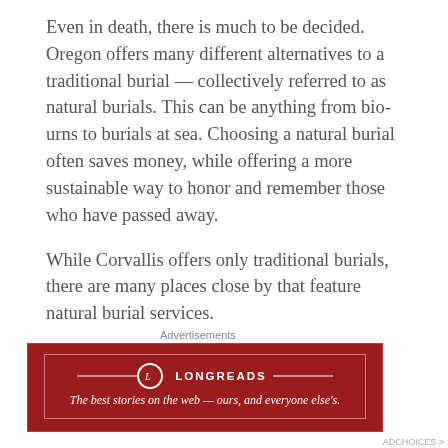Even in death, there is much to be decided. Oregon offers many different alternatives to a traditional burial — collectively referred to as natural burials. This can be anything from bio-urns to burials at sea. Choosing a natural burial often saves money, while offering a more sustainable way to honor and remember those who have passed away.
While Corvallis offers only traditional burials, there are many places close by that feature natural burial services.
Green Burials
Natural or green burials are designed to give back to the earth. While definitions and standards vary,
Advertisements
[Figure (other): Longreads advertisement banner with red background. Logo with circle L icon and the text LONGREADS. Tagline: The best stories on the web — ours, and everyone else's.]